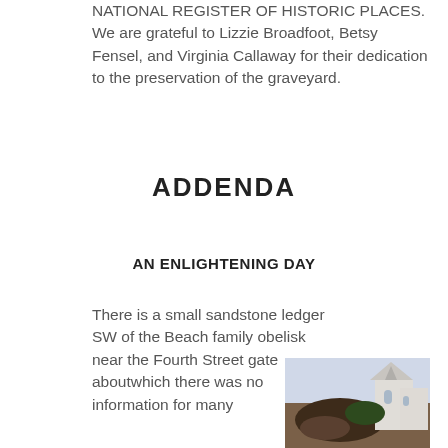NATIONAL REGISTER OF HISTORIC PLACES. We are grateful to Lizzie Broadfoot, Betsy Fensel, and Virginia Callaway for their dedication to the preservation of the graveyard.
ADDENDA
AN ENLIGHTENING DAY
There is a small sandstone ledger SW of the Beach family obelisk near the Fourth Street gate aboutwhich there was no information for many
[Figure (photo): Photograph showing stone or grave marker with what appear to be church buildings with pointed roofs in the background, outdoor setting.]